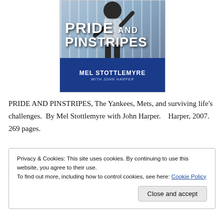[Figure (illustration): Book cover of 'Pride and Pinstripes' by Mel Stottlemyre with John Harper. Shows a baseball player in New York Yankees pinstripe uniform raising his hand, with large bold white text 'PRIDE AND PINSTRIPES' and a dark blue banner at bottom with author name 'MEL STOTTLEMYRE' and 'WITH JOHN HARPER'.]
PRIDE AND PINSTRIPES, The Yankees, Mets, and surviving life's challenges.  By Mel Stottlemyre with John Harper.   Harper, 2007. 269 pages.
Privacy & Cookies: This site uses cookies. By continuing to use this website, you agree to their use.
To find out more, including how to control cookies, see here: Cookie Policy
Close and accept